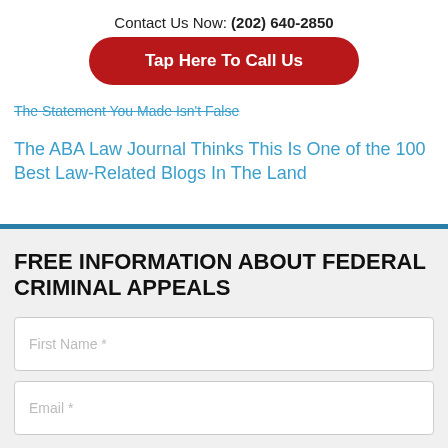Contact Us Now: (202) 640-2850
Tap Here To Call Us
The Statement You Made Isn't False
The ABA Law Journal Thinks This Is One of the 100 Best Law-Related Blogs In The Land
FREE INFORMATION ABOUT FEDERAL CRIMINAL APPEALS
First Name *
Email *